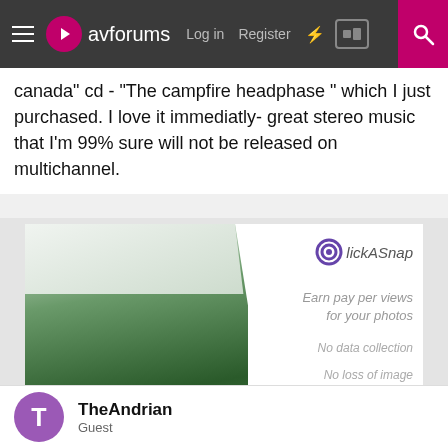avforums Log in Register
canada" cd - "The campfire headphase " which I just purchased. I love it immediatly- great stereo music that I'm 99% sure will not be released on multichannel.
[Figure (screenshot): ClickASnap advertisement banner showing a person standing on rocks looking at mountain forest scenery. Text reads: ClickASnap, Earn pay per views for your photos, No data collection, No loss of image rights, Algorithm free, Upload for free Now]
TheAndrian
Guest